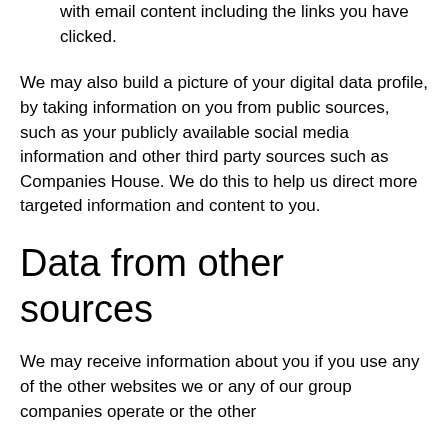with email content including the links you have clicked.
We may also build a picture of your digital data profile, by taking information on you from public sources, such as your publicly available social media information and other third party sources such as Companies House. We do this to help us direct more targeted information and content to you.
Data from other sources
We may receive information about you if you use any of the other websites we or any of our group companies operate or the other